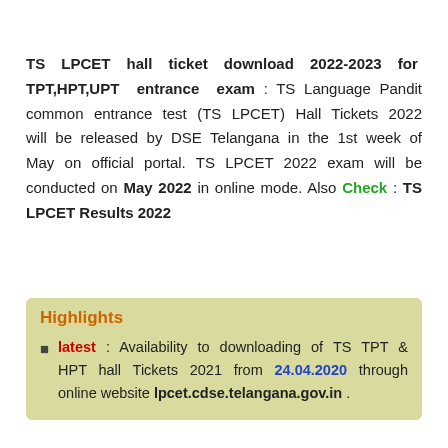TS LPCET hall ticket download 2022-2023 for TPT,HPT,UPT entrance exam : TS Language Pandit common entrance test (TS LPCET) Hall Tickets 2022 will be released by DSE Telangana in the 1st week of May on official portal. TS LPCET 2022 exam will be conducted on May 2022 in online mode. Also Check : TS LPCET Results 2022
Highlights
latest : Availability to downloading of TS TPT & HPT hall Tickets 2021 from 24.04.2020 through online website lpcet.cdse.telangana.gov.in .